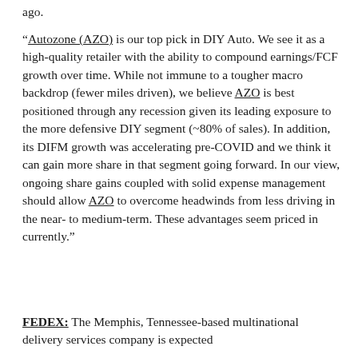ago.
“Autozone (AZO) is our top pick in DIY Auto. We see it as a high-quality retailer with the ability to compound earnings/FCF growth over time. While not immune to a tougher macro backdrop (fewer miles driven), we believe AZO is best positioned through any recession given its leading exposure to the more defensive DIY segment (~80% of sales). In addition, its DIFM growth was accelerating pre-COVID and we think it can gain more share in that segment going forward. In our view, ongoing share gains coupled with solid expense management should allow AZO to overcome headwinds from less driving in the near- to medium-term. These advantages seem priced in currently.”
FEDEX: The Memphis, Tennessee-based multinational delivery services company is expected